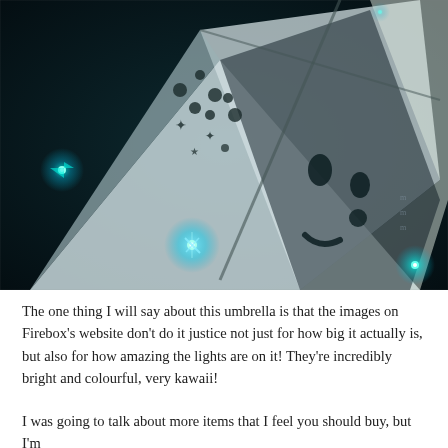[Figure (photo): A dark photograph of an umbrella with glowing cyan/blue LED lights at the tips and joints, against a very dark background. The umbrella appears white/light colored with decorative dots, stars and a cute face pattern, with bright teal LEDs illuminating at multiple points.]
The one thing I will say about this umbrella is that the images on Firebox's website don't do it justice not just for how big it actually is, but also for how amazing the lights are on it! They're incredibly bright and colourful, very kawaii!
I was going to talk about more items that I feel you should buy, but I'm